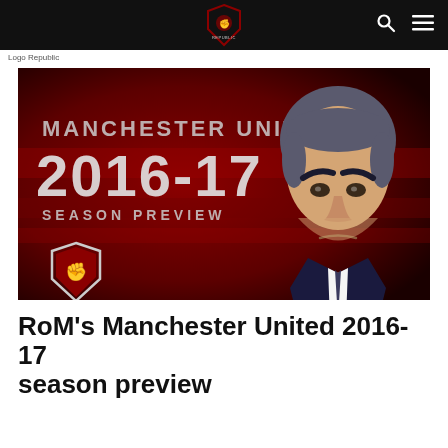[Site header with logo and navigation icons]
Logo Republic
[Figure (illustration): Manchester United 2016-17 Season Preview graphic with dark red textured background showing text 'MANCHESTER UNITED 2016-17 SEASON PREVIEW' and a caricature illustration of a stern-looking manager (Jose Mourinho) in a suit with the Republic fist logo badge in the bottom left corner.]
RoM's Manchester United 2016-17 season preview